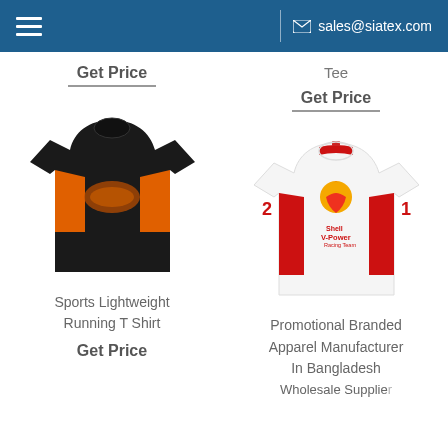sales@siatex.com
Get Price
Tee
Get Price
[Figure (photo): Black sports t-shirt with orange side panels and orange graphic print on chest]
[Figure (photo): White promotional t-shirt with red side panels and Shell V-Power logo on chest]
Sports Lightweight Running T Shirt
Get Price
Promotional Branded Apparel Manufacturer In Bangladesh
Wholesale Supplier